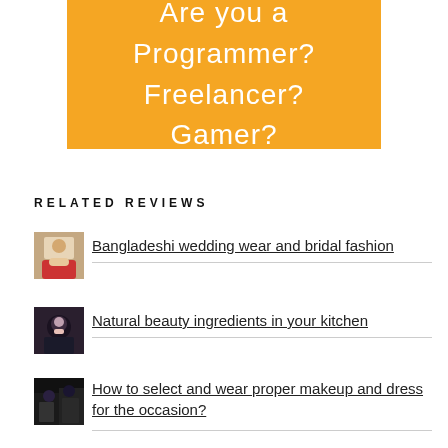[Figure (illustration): Orange banner advertisement with text: Are you a Programmer? Freelancer? Gamer?]
RELATED REVIEWS
[Figure (photo): Thumbnail photo of a Bangladeshi wedding couple]
Bangladeshi wedding wear and bridal fashion
[Figure (photo): Thumbnail photo related to natural beauty]
Natural beauty ingredients in your kitchen
[Figure (photo): Thumbnail photo of women in makeup and dress]
How to select and wear proper makeup and dress for the occasion?